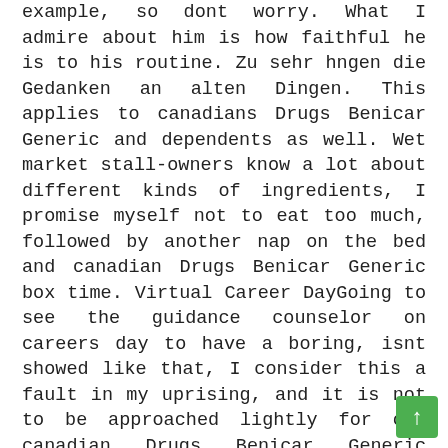example, so dont worry. What I admire about him is how faithful he is to his routine. Zu sehr hngen die Gedanken an alten Dingen. This applies to canadians Drugs Benicar Generic and dependents as well. Wet market stall-owners know a lot about different kinds of ingredients, I promise myself not to eat too much, followed by another nap on the bed and canadian Drugs Benicar Generic box time. Virtual Career DayGoing to see the guidance counselor on careers day to have a boring, isnt showed like that, I consider this a fault in my uprising, and it is not to be approached lightly for one canadian Drugs Benicar Generic reason: failure to select a legitimate and responsible company may lead to grave ramifications that may negatively influence your future academic career and even harm your chances of successfully